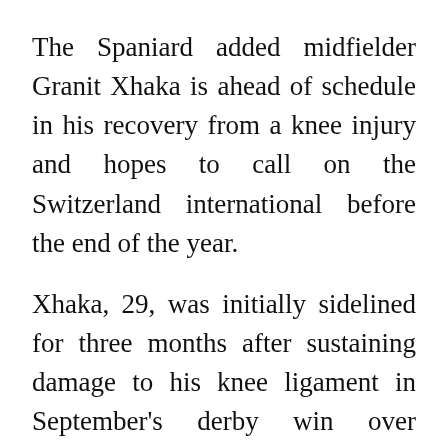The Spaniard added midfielder Granit Xhaka is ahead of schedule in his recovery from a knee injury and hopes to call on the Switzerland international before the end of the year.
Xhaka, 29, was initially sidelined for three months after sustaining damage to his knee ligament in September's derby win over Tottenham Hotspur.
"He's training and pushing himself and the staff so hard as he always does. He's in a good place, he's evolving well. I hope we can have him back before the end of the year."